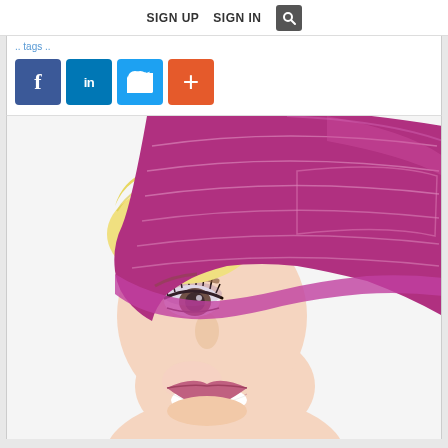SIGN UP   SIGN IN
... tags ...
[Figure (photo): Social media share buttons: Facebook (blue, f), LinkedIn (blue, in), Twitter (light blue, bird), Plus/share (orange, +)]
[Figure (photo): Close-up portrait of a smiling blonde woman wearing a large pink/magenta wide-brim hat that covers the upper half of her face, showing one eye with dramatic makeup, against a white background.]